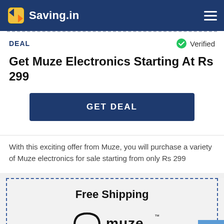Saving.in
DEAL
Verified
Get Muze Electronics Starting At Rs 299
GET DEAL
With this exciting offer from Muze, you will purchase a variety of Muze electronics for sale starting from only Rs 299
Free Shipping
[Figure (logo): Muze brand logo with stylized headphones icon and text 'muze']